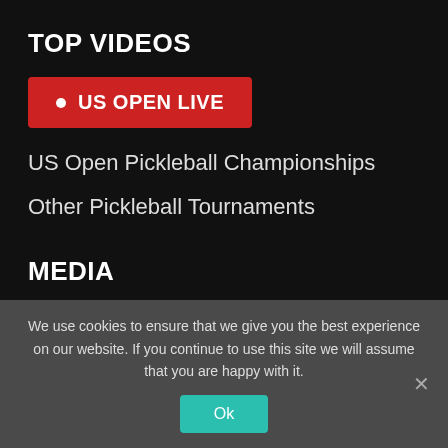TOP VIDEOS
● US OPEN LIVE
US Open Pickleball Championships
Other Pickleball Tournaments
MEDIA
In the News
We use cookies to ensure that we give you the best experience on our website. If you continue to use this site we will assume that you are happy with it.
Ok